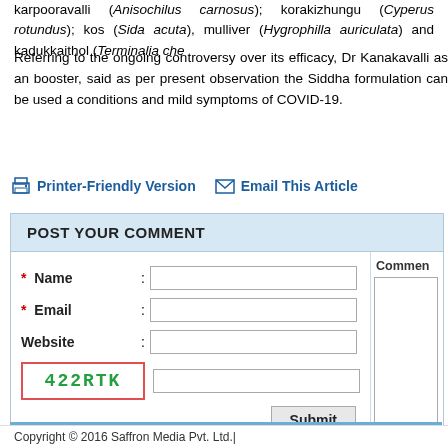karpooravalli (Anisochilus carnosus); korakizhungu (Cyperus rotundus); kos (Sida acuta), mulliver (Hygrophilla auriculata) and kadukkaithol (Terminalia che...
Referring to the ongoing controversy over its efficacy, Dr Kanakavalli as an booster, said as per present observation the Siddha formulation can be used a conditions and mild symptoms of COVID-19.
Printer-Friendly Version   Email This Article
POST YOUR COMMENT
Comment
* Name :
* Email :
Website :
422RTK (captcha)
Copyright © 2016 Saffron Media Pvt. Ltd.